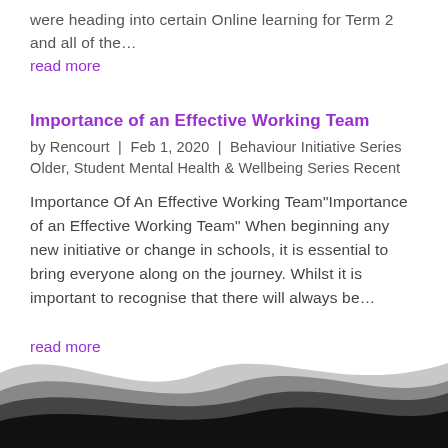were heading into certain Online learning for Term 2 and all of the…
read more
Importance of an Effective Working Team
by Rencourt | Feb 1, 2020 | Behaviour Initiative Series Older, Student Mental Health & Wellbeing Series Recent
Importance Of An Effective Working Team"Importance of an Effective Working Team" When beginning any new initiative or change in schools, it is essential to bring everyone along on the journey. Whilst it is important to recognise that there will always be…
read more
[Figure (illustration): Decorative wave footer with layered grey and black wave shapes at the bottom of the page]